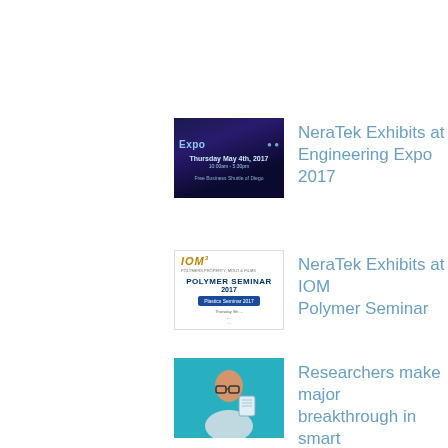[Figure (screenshot): Thumbnail image for Engineering Expo 2017 event, dark blue background with event details]
NeraTek Exhibits at Engineering Expo 2017
[Figure (screenshot): Thumbnail image for IOM Polymer Seminar 2017 brochure with white background]
NeraTek Exhibits at IOM Polymer Seminar
[Figure (photo): Photo of a researcher holding a smart printed electronics device, teal/cyan background]
Researchers make major breakthrough in smart printed electronics